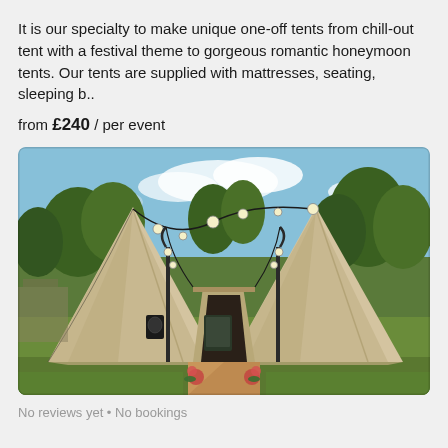It is our specialty to make unique one-off tents from chill-out tent with a festival theme to gorgeous romantic honeymoon tents. Our tents are supplied with mattresses, seating, sleeping b..
from £240 / per event
[Figure (photo): Photograph of two large tipi-style canvas tents with string lights overhead and a pathway leading to the entrance between them, set on green grass with trees in the background.]
No reviews yet • No bookings